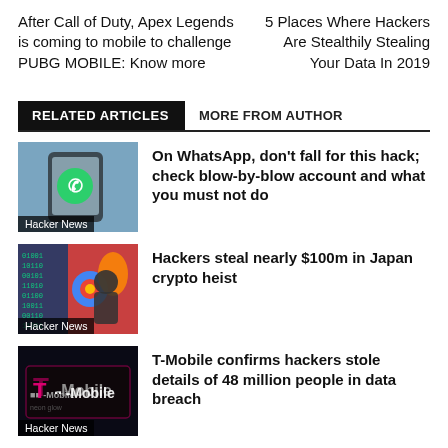After Call of Duty, Apex Legends is coming to mobile to challenge PUBG MOBILE: Know more
5 Places Where Hackers Are Stealthily Stealing Your Data In 2019
RELATED ARTICLES   MORE FROM AUTHOR
[Figure (photo): WhatsApp app icon on phone screen, Hacker News label]
On WhatsApp, don't fall for this hack; check blow-by-blow account and what you must not do
[Figure (photo): Hacker in hood with colorful browser icons background, Hacker News label]
Hackers steal nearly $100m in Japan crypto heist
[Figure (photo): T-Mobile neon sign, Hacker News label]
T-Mobile confirms hackers stole details of 48 million people in data breach